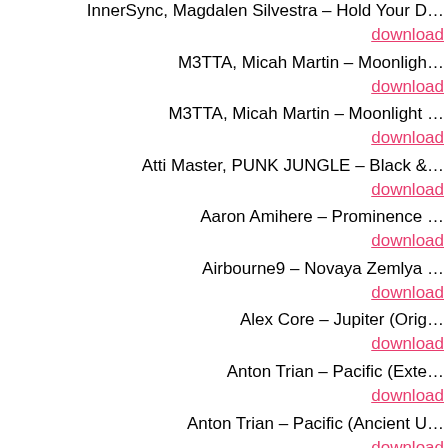InnerSync, Magdalen Silvestra – Hold Your D…
download
M3TTA, Micah Martin – Moonligh…
download
M3TTA, Micah Martin – Moonlight …
download
Atti Master, PUNK JUNGLE – Black &…
download
Aaron Amihere – Prominence …
download
Airbourne9 – Novaya Zemlya …
download
Alex Core – Jupiter (Orig…
download
Anton Trian – Pacific (Exte…
download
Anton Trian – Pacific (Ancient U…
download
Anton Trian – Pacific (Cl…
download
Axel Zambrano – Liefauga (Jorg…
download
Axel Zambrano – Liefauga (Leand…